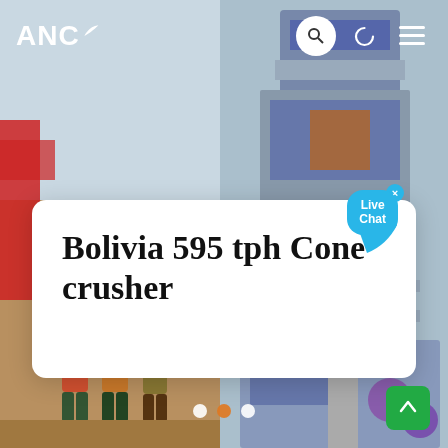[Figure (screenshot): Website screenshot showing ANC logo with leaf icon on top-left, search, moon, and hamburger menu icons on top-right, over a background photo collage of workers and industrial machinery (cone crusher equipment). A white card overlays the center with the title 'Bolivia 595 tph Cone crusher'. A live chat bubble is visible top-right of card. Navigation dots at bottom center (white, orange, white). Green scroll-to-top button bottom-right.]
Bolivia 595 tph Cone crusher